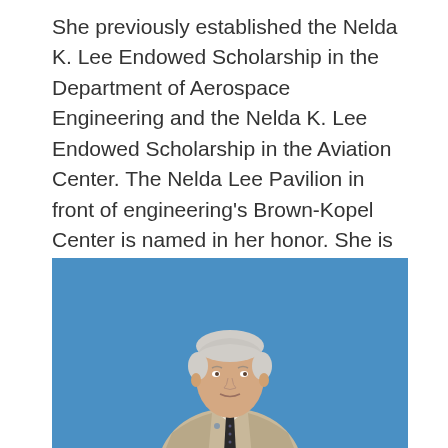She previously established the Nelda K. Lee Endowed Scholarship in the Department of Aerospace Engineering and the Nelda K. Lee Endowed Scholarship in the Aviation Center. The Nelda Lee Pavilion in front of engineering's Brown-Kopel Center is named in her honor. She is a member of the Engineering Ginn and Eagles societies, as well as the university's 1856 and Samford societies, and she also supports the Auburn University Marching Band and the Gogue Performing Arts Center.
[Figure (photo): An elderly man with white/grey hair wearing a light beige suit jacket, white dress shirt, and dark patterned tie, standing in front of a solid blue background.]